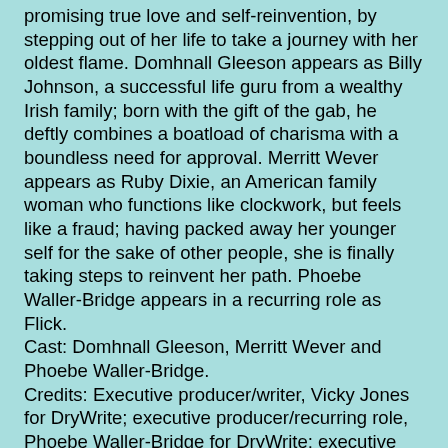promising true love and self-reinvention, by stepping out of her life to take a journey with her oldest flame. Domhnall Gleeson appears as Billy Johnson, a successful life guru from a wealthy Irish family; born with the gift of the gab, he deftly combines a boatload of charisma with a boundless need for approval. Merritt Wever appears as Ruby Dixie, an American family woman who functions like clockwork, but feels like a fraud; having packed away her younger self for the sake of other people, she is finally taking steps to reinvent her path. Phoebe Waller-Bridge appears in a recurring role as Flick.
Cast: Domhnall Gleeson, Merritt Wever and Phoebe Waller-Bridge.
Credits: Executive producer/writer, Vicky Jones for DryWrite; executive producer/recurring role, Phoebe Waller-Bridge for DryWrite; executive producer, Emily Leo for Wigwam Films; executive producer/pilot director: Kate Dennis; produced for HBO by Entertainment One (eOne).
Status: Debuts spring 2020.
BETTY (New Series)
Synopsis: Based on Crystal Moselle's critically acclaimed